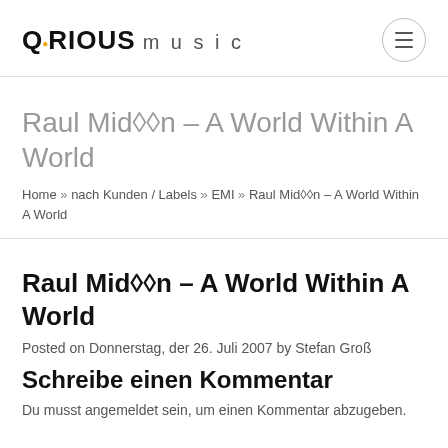Q·RIOUS music
Raul Mid■■n – A World Within A World
Home » nach Kunden / Labels » EMI » Raul Mid■■n – A World Within A World
Raul Mid■■n – A World Within A World
Posted on Donnerstag, der 26. Juli 2007 by Stefan Groß
Schreibe einen Kommentar
Du musst angemeldet sein, um einen Kommentar abzugeben.